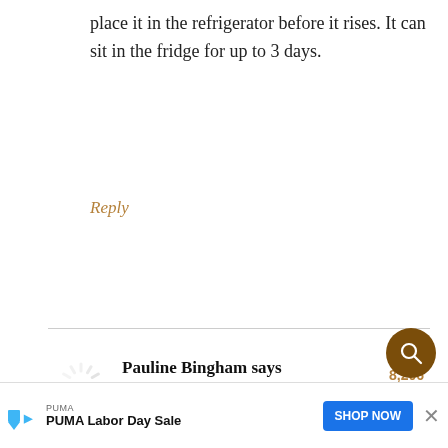place it in the refrigerator before it rises. It can sit in the fridge for up to 3 days.
Reply
[Figure (other): Loading spinner / avatar placeholder icon]
Pauline Bingham says
October 3, 2020 at 1:37 pm
8,206
I had never made pizza dough before but my daughter sent me this recipe so I gave it a try. I've made it several times...
[Figure (other): PUMA advertisement banner: PUMA Labor Day Sale with SHOP NOW button]